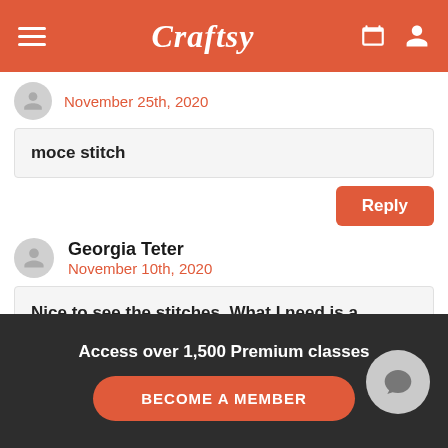Craftsy
November 25th, 2020
moce stitch
Reply
Georgia Teter
November 10th, 2020
Nice to see the stitches. What I need is a instructor showing how to do it. I ended up on u tube to learn them.
Access over 1,500 Premium classes
BECOME A MEMBER